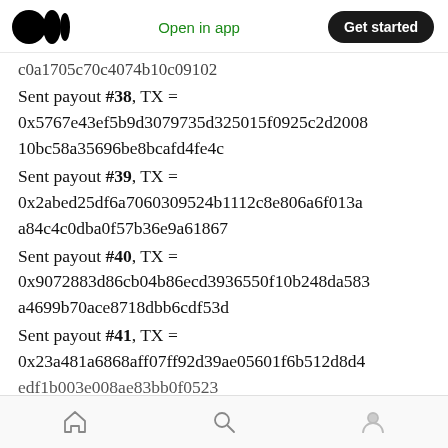Medium logo | Open in app | Get started
c0a1705c70c4074b10c09102
Sent payout #38, TX = 0x5767e43ef5b9d3079735d325015f0925c2d200810bc58a35696be8bcafd4fe4c
Sent payout #39, TX = 0x2abed25df6a7060309524b1112c8e806a6f013aa84c4c0dba0f57b36e9a61867
Sent payout #40, TX = 0x9072883d86cb04b86ecd3936550f10b248da583a4699b70ace8718dbb6cdf53d
Sent payout #41, TX = 0x23a481a6868aff07ff92d39ae05601f6b512d8d4edf1b003e008ae83bb0f0523
Home | Search | Profile